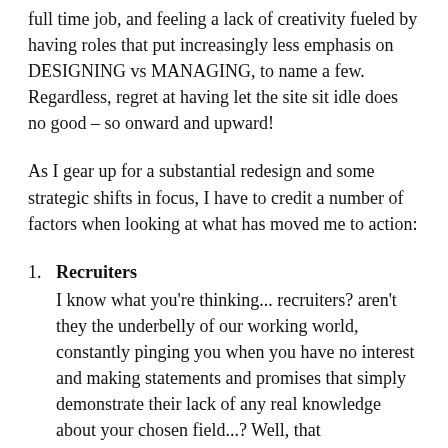full time job, and feeling a lack of creativity fueled by having roles that put increasingly less emphasis on DESIGNING vs MANAGING, to name a few. Regardless, regret at having let the site sit idle does no good – so onward and upward!
As I gear up for a substantial redesign and some strategic shifts in focus, I have to credit a number of factors when looking at what has moved me to action:
1. Recruiters
I know what you're thinking... recruiters? aren't they the underbelly of our working world, constantly pinging you when you have no interest and making statements and promises that simply demonstrate their lack of any real knowledge about your chosen field...? Well, that can be the case, certainly.